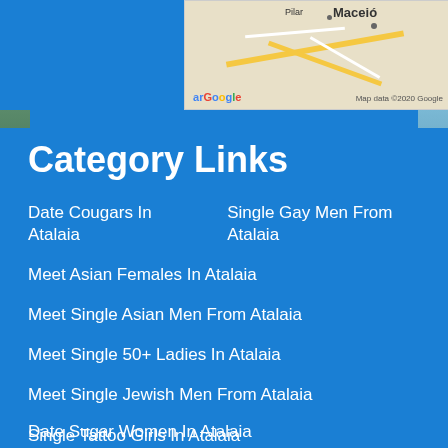[Figure (map): Google Maps snippet showing area around Maceió and Pilar, Brazil. Map data ©2020 Google.]
Category Links
Date Cougars In Atalaia
Single Gay Men From Atalaia
Meet Asian Females In Atalaia
Meet Single Asian Men From Atalaia
Meet Single 50+ Ladies In Atalaia
Meet Single Jewish Men From Atalaia
Single Tattoo Girls In Atalaia
Date Hot Guys With Tattoos From Atalaia
Date Sugar Women In Atalaia